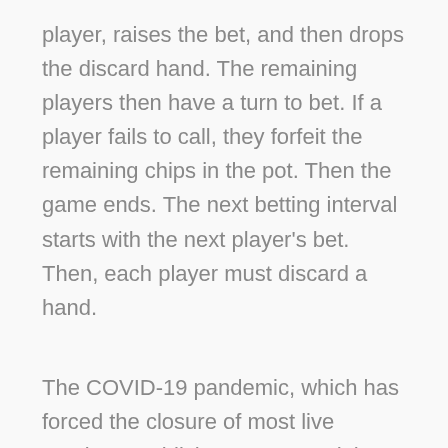player, raises the bet, and then drops the discard hand. The remaining players then have a turn to bet. If a player fails to call, they forfeit the remaining chips in the pot. Then the game ends. The next betting interval starts with the next player's bet. Then, each player must discard a hand.
The COVID-19 pandemic, which has forced the closure of most live gaming establishments around the world, has resulted in a surge in traffic to online poker sites. With fewer options for live entertainment, many casual players are turning to online poker. As